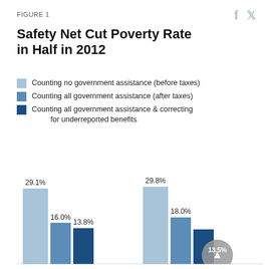FIGURE 1
Safety Net Cut Poverty Rate in Half in 2012
Counting no government assistance (before taxes)
Counting all government assistance (after taxes)
Counting all government assistance & correcting for underreported benefits
[Figure (grouped-bar-chart): Safety Net Cut Poverty Rate in Half in 2012]